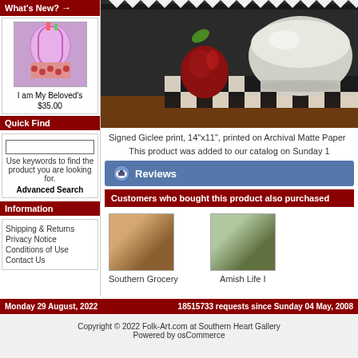What's New?
[Figure (photo): Small painting thumbnail - I am My Beloved's]
I am My Beloved's
$35.00
Quick Find
Use keywords to find the product you are looking for.
Advanced Search
Information
Shipping & Returns
Privacy Notice
Conditions of Use
Contact Us
[Figure (photo): Painting showing fruit still life with apple and white bowl on checkered surface]
Signed Giclee print, 14"x11", printed on Archival Matte Paper
This product was added to our catalog on Sunday 1
Reviews
Customers who bought this product also purchased
Southern Grocery
Amish Life I
Monday 29 August, 2022    18515733 requests since Sunday 04 May, 2008
Copyright © 2022 Folk-Art.com at Southern Heart Gallery
Powered by osCommerce